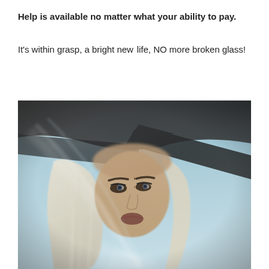Help is available no matter what your ability to pay.
It's within grasp, a bright new life, NO more broken glass!
[Figure (photo): A young woman with long blonde hair looking up through a glass window or windshield, with a blurred blue sky background. The reflection and glass create a layered, dreamy effect. The image conveys hope and longing.]